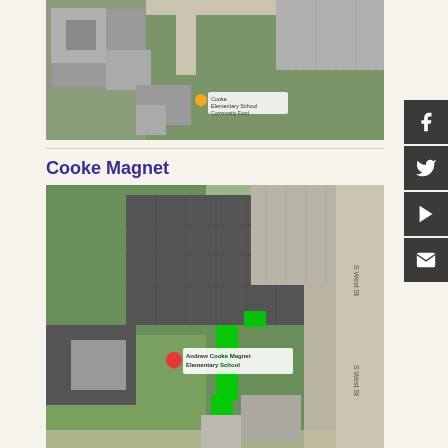[Figure (map): Aerial satellite map view of a school building with parking lots and green fields. A yellow location pin marks 'Cooke Elementary School / Community Fund' area.]
Cooke Magnet
[Figure (map): Aerial satellite map view of Andrew Cooke Magnet Elementary School with green highlighted path/walkway shown on the map. A red location pin marks 'Andrew Cooke Magnet Elementary School'. S West St road visible on right side.]